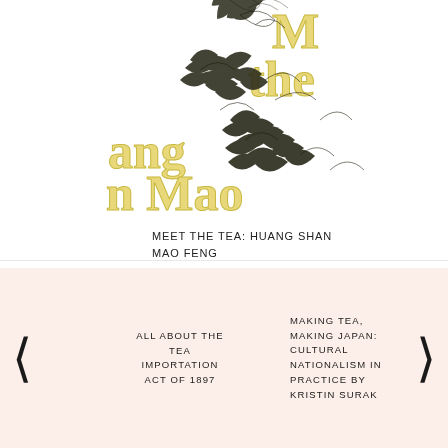[Figure (illustration): Book cover image partially cropped showing dried tea leaves (Huang Shan Mao Feng) scattered diagonally across a white background, with large decorative gold/yellow serif text reading 'Meet the [Hu]ang [Sha]n Mao Feng' partially visible]
MEET THE TEA: HUANG SHAN MAO FENG
ALL ABOUT THE TEA IMPORTATION ACT OF 1897
MAKING TEA, MAKING JAPAN: CULTURAL NATIONALISM IN PRACTICE BY KRISTIN SURAK